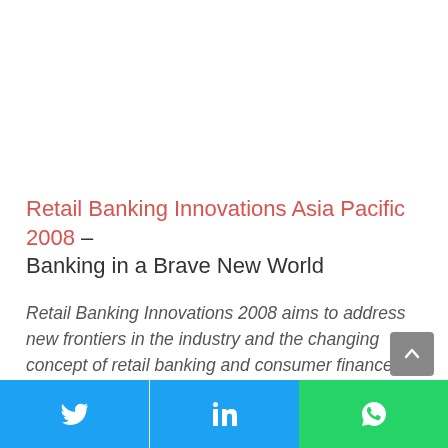Retail Banking Innovations Asia Pacific 2008 – Banking in a Brave New World
Retail Banking Innovations 2008 aims to address new frontiers in the industry and the changing concept of retail banking and consumer finance in the Asia Pacific region – with a highly content-driven and provocative agenda.